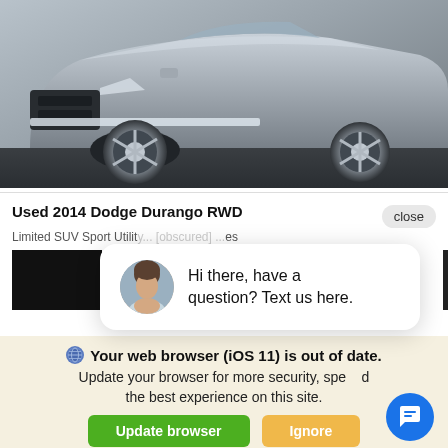[Figure (photo): Silver/grey Dodge Durango RWD SUV photographed from front-left angle in a dealership setting, showing the grille, hood, windshield, and front wheels on a dark floor.]
Used 2014 Dodge Durango RWD
Limited SUV Sport Utili... [partially obscured] ...es
[Figure (screenshot): Chat popup widget showing a woman's avatar photo and the message: Hi there, have a question? Text us here. A 'close' button appears in the upper right. A black redacted image block appears to the left.]
Hi there, have a question? Text us here.
Your web browser (iOS 11) is out of date. Update your browser for more security, speed and the best experience on this site.
Update browser
Ignore